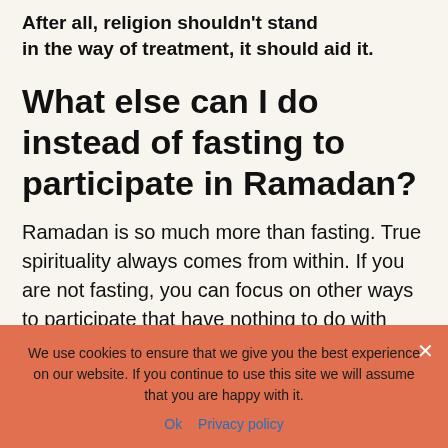After all, religion shouldn't stand in the way of treatment, it should aid it.
What else can I do instead of fasting to participate in Ramadan?
Ramadan is so much more than fasting. True spirituality always comes from within. If you are not fasting, you can focus on other ways to participate that have nothing to do with when or how you eat during yourself.
We use cookies to ensure that we give you the best experience on our website. If you continue to use this site we will assume that you are happy with it.
Ok   Privacy policy